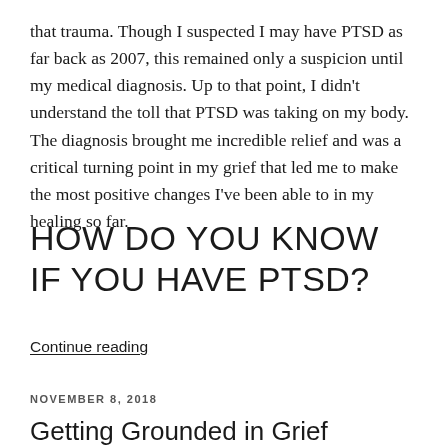that trauma. Though I suspected I may have PTSD as far back as 2007, this remained only a suspicion until my medical diagnosis. Up to that point, I didn't understand the toll that PTSD was taking on my body. The diagnosis brought me incredible relief and was a critical turning point in my grief that led me to make the most positive changes I've been able to in my healing so far.
HOW DO YOU KNOW IF YOU HAVE PTSD?
Continue reading
NOVEMBER 8, 2018
Getting Grounded in Grief